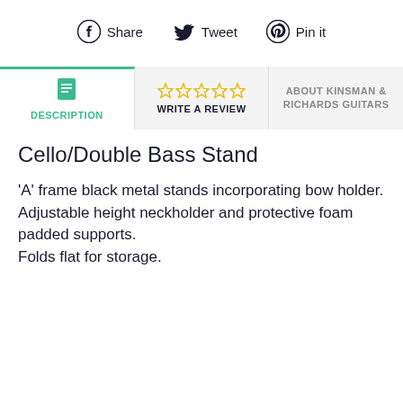[Figure (other): Social sharing buttons: Facebook Share, Twitter Tweet, Pinterest Pin it]
[Figure (other): Tab navigation with three tabs: Description (active, green icon), Write a Review (star rating), About Kinsman & Richards Guitars]
Cello/Double Bass Stand
‘A’ frame black metal stands incorporating bow holder. Adjustable height neckholder and protective foam padded supports. Folds flat for storage.